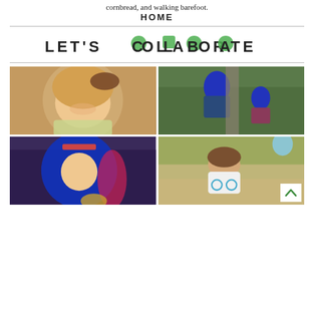cornbread, and walking barefoot.
HOME
LET'S COLLABORATE
[Figure (photo): Four photos in a 2x2 grid: top-left shows a young blonde girl with a brown bow smiling; top-right shows two children in blue-haired Descendants costumes; bottom-left shows a child with long blue/pink hair wig holding a mirror; bottom-right shows a young girl in a white t-shirt with a bicycle graphic outdoors.]